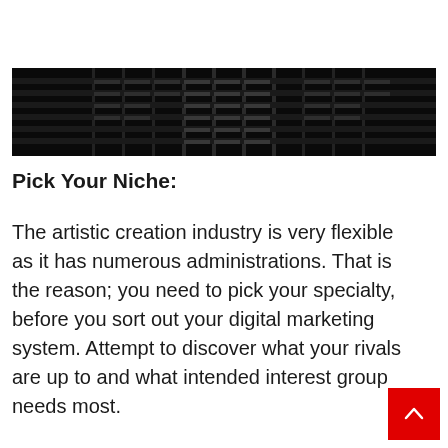[Figure (photo): Dark photograph looking up at a tall building with grid-like window patterns, dark/black tones]
Pick Your Niche:
The artistic creation industry is very flexible as it has numerous administrations. That is the reason; you need to pick your specialty, before you sort out your digital marketing system. Attempt to discover what your rivals are up to and what intended interest group needs most.